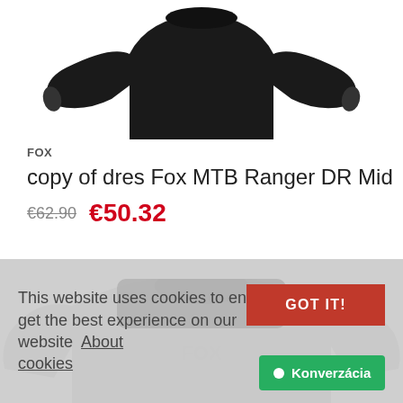[Figure (photo): Top portion of a black MTB cycling jersey/shirt, showing the collar and sleeves against white background]
FOX
copy of dres Fox MTB Ranger DR Mid
€62.90  €50.32
[Figure (photo): Bottom portion of a black cycling jersey/shirt showing the body and arms, partially obscured by cookie banner]
This website uses cookies to ensure you get the best experience on our website  About cookies
GOT IT!
Konverzácia